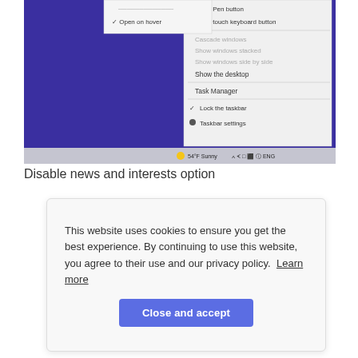[Figure (screenshot): Windows taskbar right-click context menu showing options: Open on hover (checked), Show Pen button, Show touch keyboard button, Cascade windows (greyed), Show windows stacked (greyed), Show windows side by side (greyed), Show the desktop, Task Manager, Lock the taskbar (checked), Taskbar settings. The desktop background is dark blue/purple. The taskbar shows weather info: 54°F Sunny with system tray icons.]
Disable news and interests option
This website uses cookies to ensure you get the best experience. By continuing to use this website, you agree to their use and our privacy policy. Learn more